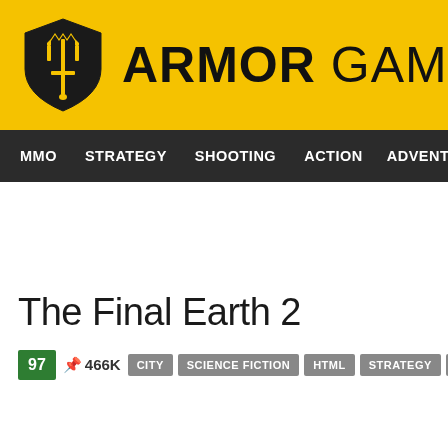ARMOR GAMES
MMO  STRATEGY  SHOOTING  ACTION  ADVENTURE  P
The Final Earth 2
97  466K  CITY  SCIENCE FICTION  HTML  STRATEGY  BUILDING